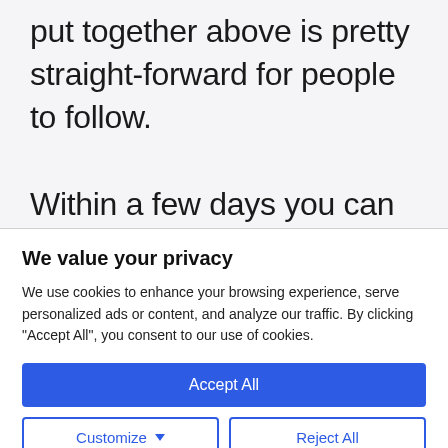put together above is pretty straight-forward for people to follow.
Within a few days you can
We value your privacy
We use cookies to enhance your browsing experience, serve personalized ads or content, and analyze our traffic. By clicking "Accept All", you consent to our use of cookies.
Accept All
Customize
Reject All